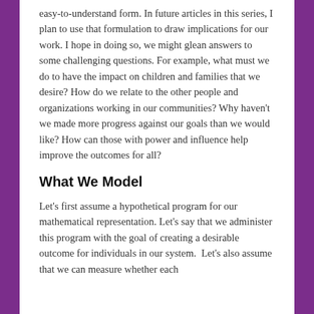easy-to-understand form. In future articles in this series, I plan to use that formulation to draw implications for our work. I hope in doing so, we might glean answers to some challenging questions. For example, what must we do to have the impact on children and families that we desire? How do we relate to the other people and organizations working in our communities? Why haven't we made more progress against our goals than we would like? How can those with power and influence help improve the outcomes for all?
What We Model
Let's first assume a hypothetical program for our mathematical representation. Let's say that we administer this program with the goal of creating a desirable outcome for individuals in our system.  Let's also assume that we can measure whether each